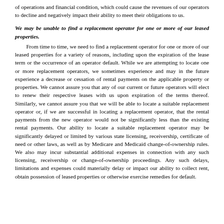of operations and financial condition, which could cause the revenues of our operators to decline and negatively impact their ability to meet their obligations to us.
We may be unable to find a replacement operator for one or more of our leased properties.
From time to time, we need to find a replacement operator for one or more of our leased properties for a variety of reasons, including upon the expiration of the lease term or the occurrence of an operator default. While we are attempting to locate one or more replacement operators, we sometimes experience and may in the future experience a decrease or cessation of rental payments on the applicable property or properties. We cannot assure you that any of our current or future operators will elect to renew their respective leases with us upon expiration of the terms thereof. Similarly, we cannot assure you that we will be able to locate a suitable replacement operator or, if we are successful in locating a replacement operator, that the rental payments from the new operator would not be significantly less than the existing rental payments. Our ability to locate a suitable replacement operator may be significantly delayed or limited by various state licensing, receivership, certificate of need or other laws, as well as by Medicare and Medicaid change-of-ownership rules. We also may incur substantial additional expenses in connection with any such licensing, receivership or change-of-ownership proceedings. Any such delays, limitations and expenses could materially delay or impact our ability to collect rent, obtain possession of leased properties or otherwise exercise remedies for default.